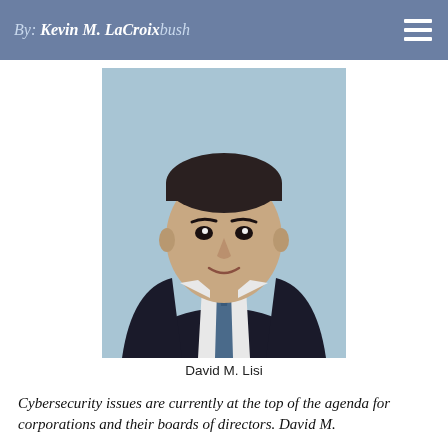By: Kevin M. LaCroix
[Figure (photo): Headshot portrait of David M. Lisi, a man in a dark suit with a blue tie, against a light blue background]
David M. Lisi
Cybersecurity issues are currently at the top of the agenda for corporations and their boards of directors. David M.